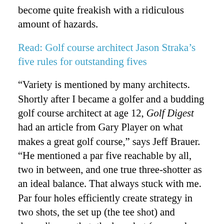become quite freakish with a ridiculous amount of hazards.
Read: Golf course architect Jason Straka's five rules for outstanding fives
“Variety is mentioned by many architects. Shortly after I became a golfer and a budding golf course architect at age 12, Golf Digest had an article from Gary Player on what makes a great golf course,” says Jeff Brauer. “He mentioned a par five reachable by all, two in between, and one true three-shotter as an ideal balance. That always stuck with me. Par four holes efficiently create strategy in two shots, the set up (the tee shot) and depending on that, the key shot (approach shot). Three shots is simply not required for strategy. Historically, I gather they were introduced in limited fashion